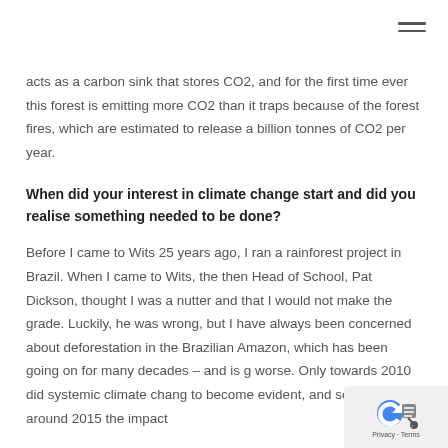acts as a carbon sink that stores CO2, and for the first time ever this forest is emitting more CO2 than it traps because of the forest fires, which are estimated to release a billion tonnes of CO2 per year.
When did your interest in climate change start and did you realise something needed to be done?
Before I came to Wits 25 years ago, I ran a rainforest project in Brazil. When I came to Wits, the then Head of School, Pat Dickson, thought I was a nutter and that I would not make the grade. Luckily, he was wrong, but I have always been concerned about deforestation in the Brazilian Amazon, which has been going on for many decades – and is g worse. Only towards 2010 did systemic climate chang to become evident, and somewhere around 2015 the impact